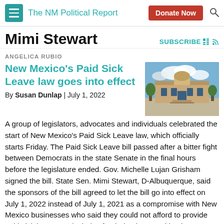The NM Political Report | Donate Now
Mimi Stewart
SUBSCRIBE
ANGELICA RUBIO
New Mexico's Paid Sick Leave law goes into effect
By Susan Dunlap | July 1, 2022
[Figure (photo): Photo of a government building exterior with blue sky and clouds]
A group of legislators, advocates and individuals celebrated the start of New Mexico's Paid Sick Leave law, which officially starts Friday. The Paid Sick Leave bill passed after a bitter fight between Democrats in the state Senate in the final hours before the legislature ended. Gov. Michelle Lujan Grisham signed the bill. State Sen. Mimi Stewart, D-Albuquerque, said the sponsors of the bill agreed to let the bill go into effect on July 1, 2022 instead of July 1, 2021 as a compromise with New Mexico businesses who said they could not afford to provide paid sick leave, particularly after being impacted by the COVID-19 pandemic. Stewart said there was an attempt to weaken the law before the